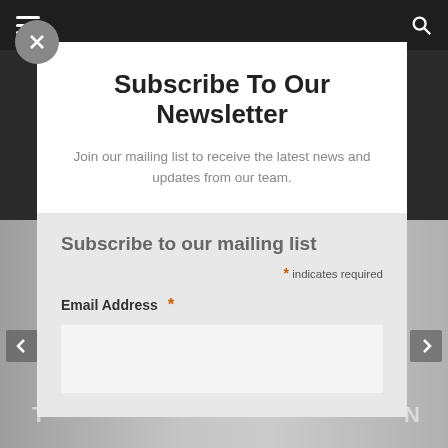Subscribe To Our Newsletter
Join our mailing list to receive the latest news and updates from our team.
Subscribe to our mailing list
* indicates required
Email Address *